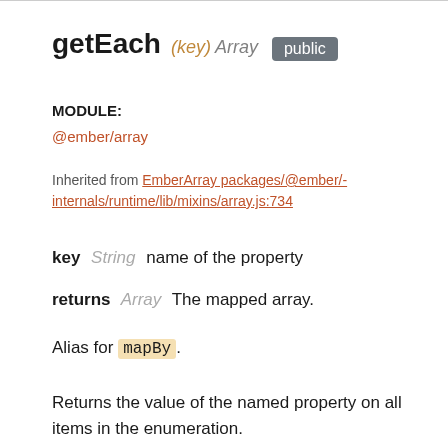getEach (key) Array public
MODULE:
@ember/array
Inherited from EmberArray packages/@ember/-internals/runtime/lib/mixins/array.js:734
key String  name of the property
returns Array  The mapped array.
Alias for mapBy.
Returns the value of the named property on all items in the enumeration.
[Figure (screenshot): Code block showing: 1  let people = [{name: 'Joe'}, {name  JS  2  3  people.getEach('name');]